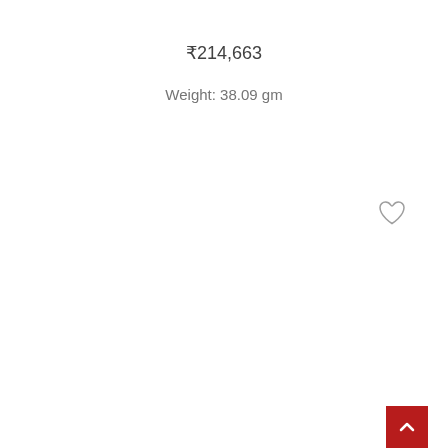₹214,663
Weight: 38.09 gm
[Figure (illustration): Heart/wishlist icon outline in gray, and a red back-to-top button with white chevron arrow]